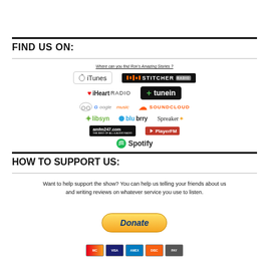FIND US ON:
[Figure (infographic): Grid of podcast platform logos: iTunes, Stitcher, iHeartRadio, TuneIn, Google Music, SoundCloud, Libsyn, Blubrry, Spreaker, amfm247.com, PlayerFM, Spotify. Caption: Where can you find Ron's Amazing Stories?]
HOW TO SUPPORT US:
Want to help support the show? You can help us telling your friends about us and writing reviews on whatever service you use to listen.
[Figure (other): PayPal Donate button with payment method icons below]